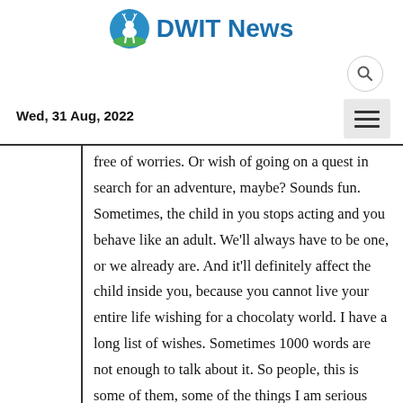[Figure (logo): DWIT News logo with a deer icon in a blue-green circle followed by bold blue text 'DWIT News']
Wed, 31 Aug, 2022
free of worries. Or wish of going on a quest in search for an adventure, maybe? Sounds fun. Sometimes, the child in you stops acting and you behave like an adult. We'll always have to be one, or we already are. And it'll definitely affect the child inside you, because you cannot live your entire life wishing for a chocolaty world. I have a long list of wishes. Sometimes 1000 words are not enough to talk about it. So people, this is some of them, some of the things I am serious about. This is my very first poem: .